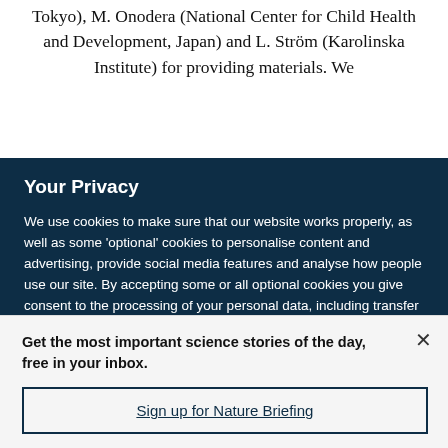Tokyo), M. Onodera (National Center for Child Health and Development, Japan) and L. Ström (Karolinska Institute) for providing materials. We
Your Privacy
We use cookies to make sure that our website works properly, as well as some 'optional' cookies to personalise content and advertising, provide social media features and analyse how people use our site. By accepting some or all optional cookies you give consent to the processing of your personal data, including transfer to third parties, some in countries outside of the European Economic Area that do not offer the same data protection standards as the country where you live. You can decide which optional cookies to accept by clicking on 'Manage Settings', where you can
Get the most important science stories of the day, free in your inbox.
Sign up for Nature Briefing